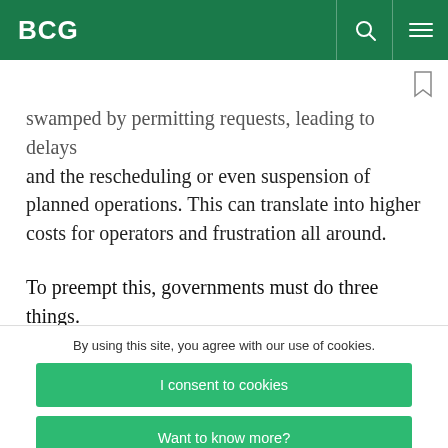BCG
swamped by permitting requests, leading to delays and the rescheduling or even suspension of planned operations. This can translate into higher costs for operators and frustration all around.
To preempt this, governments must do three things.
By using this site, you agree with our use of cookies.
I consent to cookies
Want to know more?
Read our Cookie Policy